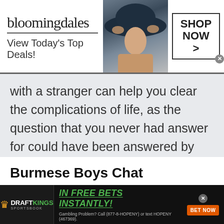[Figure (screenshot): Bloomingdale's advertisement banner showing brand name, 'View Today's Top Deals!' tagline, woman in large hat photo, and 'SHOP NOW >' button]
with a stranger can help you clear the complications of life, as the question that you never had answer for could have been answered by someone else already.
Burmese Boys Chat
[Figure (screenshot): DraftKings Sportsbook advertisement with 'IN FREE BETS INSTANTLY!' offer, BET NOW button, and responsible gambling disclaimer]